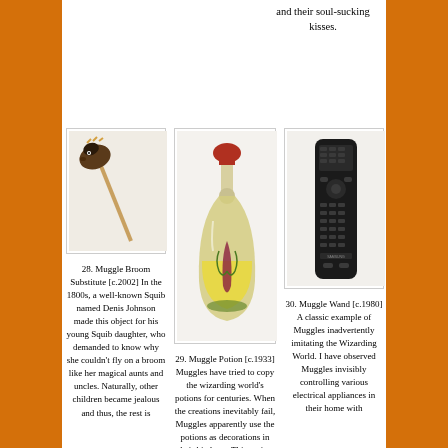and their soul-sucking kisses.
[Figure (photo): A hobby horse toy with a stick and horse head made of fabric]
28. Muggle Broom Substitute [c.2002] In the 1800s, a well-known Squib named Denis Johnson made this object for his young Squib daughter, who demanded to know why she couldn't fly on a broom like her magical aunts and uncles. Naturally, other children became jealous and thus, the rest is
[Figure (photo): A decorative bottle shaped like a flask containing yellow liquid and a plant/herb inside, with a red stopper]
29. Muggle Potion [c.1933] Muggles have tried to copy the wizarding world's potions for centuries. When the creations inevitably fail, Muggles apparently use the potions as decorations in their kitchens. This potion appears to be a replication of the
[Figure (photo): A black TV remote control (appears to be a Samsung brand remote)]
30. Muggle Wand [c.1980] A classic example of Muggles inadvertently imitating the Wizarding World. I have observed Muggles invisibly controlling various electrical appliances in their home with